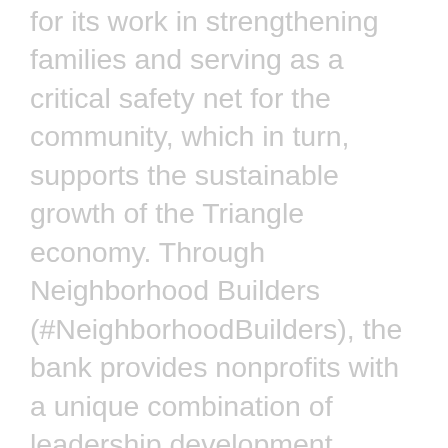for its work in strengthening families and serving as a critical safety net for the community, which in turn, supports the sustainable growth of the Triangle economy. Through Neighborhood Builders (#NeighborhoodBuilders), the bank provides nonprofits with a unique combination of leadership development, $200,000 in flexible funding, a network of peer organizations across the U.S. and the opportunity to access capital in order to expand their impact in the Triangle community.
“We recognize the critical role that nonprofits and their leaders play to strengthen families and build pathways to economic progress in the Triangle